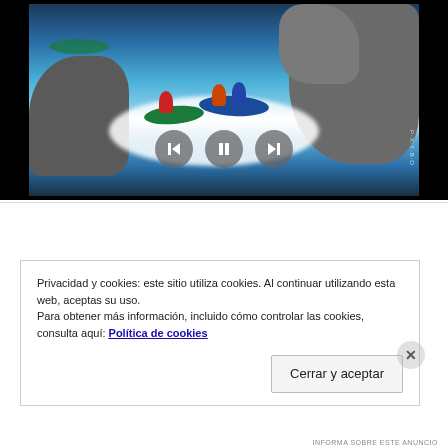[Figure (photo): Kayakers navigating white water rapids through rocky canyon, with playback controls (back, pause, forward) overlaid at the bottom center of the image.]
Share this:
Privacidad y cookies: este sitio utiliza cookies. Al continuar utilizando esta web, aceptas su uso.
Para obtener más información, incluido cómo controlar las cookies, consulta aquí: Política de cookies
Cerrar y aceptar
INFORMA SOBRE ESTE ANUNCIO